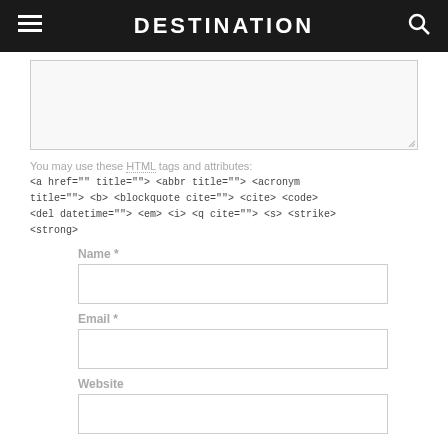DESTINATION
[Figure (other): Comment text area input box (empty, partially visible at top)]
You may use these HTML tags and attributes:
<a href="" title=""> <abbr title=""> <acronym title=""> <b> <blockquote cite=""> <cite> <code> <del datetime=""> <em> <i> <q cite=""> <s> <strike> <strong>
Name *
[Figure (other): Name input field (empty text box)]
Email *
[Figure (other): Email input field (empty text box)]
Website
[Figure (other): Website input field (empty text box, partially visible)]